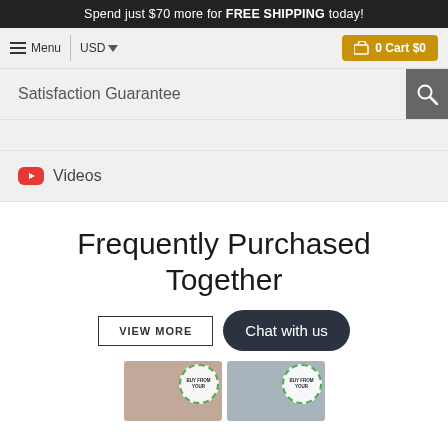Spend just $70 more for FREE SHIPPING today!
Menu  USD  0 Cart $0
Satisfaction Guarantee
[Figure (screenshot): Empty accordion section]
Videos
Frequently Purchased Together
VIEW MORE  Chat with us
[Figure (photo): Product thumbnails with BUY FROM YOUR badges]